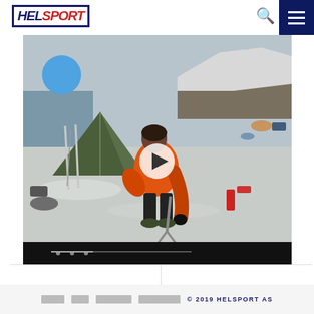HELSPORT
[Figure (photo): A person in an orange down jacket bending over equipment on snow, with a green tent and skiing equipment in the background near a snowy coastline. A video play button overlay is visible in the center.]
□□□□□□  □□□□  □□□□□□□□□□  □□□□□□□□□□□□  © 2019 HELSPORT AS